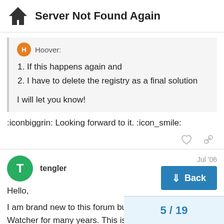Server Not Found Again
Hoover:
1. If this happens again and
2. I have to delete the registry as a final solution
I will let you know!
:iconbiggrin: Looking forward to it. :icon_smile:
tengler  Jul '06
Hello,

I am brand new to this forum but I have be... Watcher for many years. This is the first ti... with it. I also got "Server not found" messa...